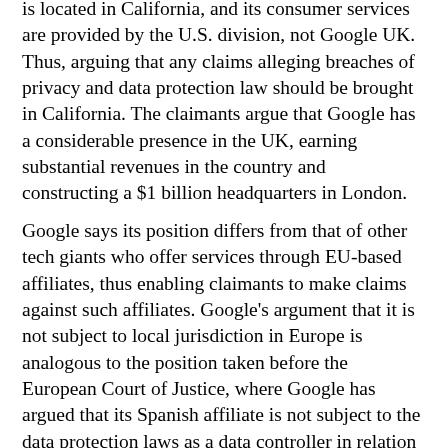is located in California, and its consumer services are provided by the U.S. division, not Google UK. Thus, arguing that any claims alleging breaches of privacy and data protection law should be brought in California. The claimants argue that Google has a considerable presence in the UK, earning substantial revenues in the country and constructing a $1 billion headquarters in London.
Google says its position differs from that of other tech giants who offer services through EU-based affiliates, thus enabling claimants to make claims against such affiliates. Google's argument that it is not subject to local jurisdiction in Europe is analogous to the position taken before the European Court of Justice, where Google has argued that its Spanish affiliate is not subject to the data protection laws as a data controller in relation to the services offered by Google, Inc. Both of these cases raise interesting questions about jurisdiction, which the European Commission is hoping to resolve through the draft Data Protection Regulation. The draft Regulation clearly establishes jurisdiction for non-EU based companies that